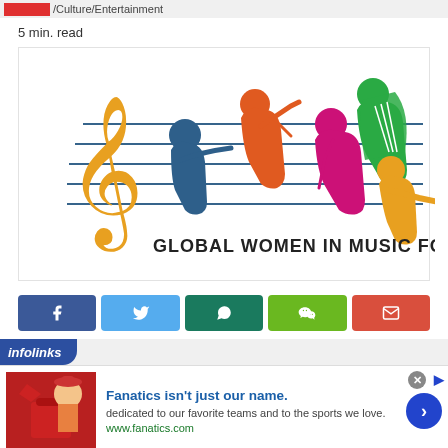/Culture/Entertainment
5 min. read
[Figure (logo): Global Women in Music for Human Rights logo: colorful silhouettes of female musicians on music staff lines with treble clef]
[Figure (infographic): Social media share buttons: Facebook, Twitter, WhatsApp, WeChat, Email]
infolinks
[Figure (photo): Advertisement: Fanatics isn't just our name. dedicated to our favorite teams and to the sports we love. www.fanatics.com]